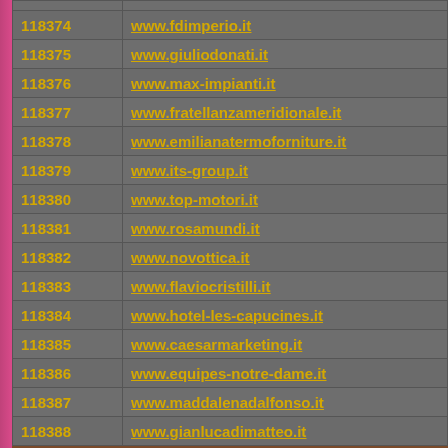| ID | URL |
| --- | --- |
| 118374 | www.fdimperio.it |
| 118375 | www.giuliodonati.it |
| 118376 | www.max-impianti.it |
| 118377 | www.fratellanzameridionale.it |
| 118378 | www.emilianatermoforniture.it |
| 118379 | www.its-group.it |
| 118380 | www.top-motori.it |
| 118381 | www.rosamundi.it |
| 118382 | www.novottica.it |
| 118383 | www.flaviocristilli.it |
| 118384 | www.hotel-les-capucines.it |
| 118385 | www.caesarmarketing.it |
| 118386 | www.equipes-notre-dame.it |
| 118387 | www.maddalenadalfonso.it |
| 118388 | www.gianlucadimatteo.it |